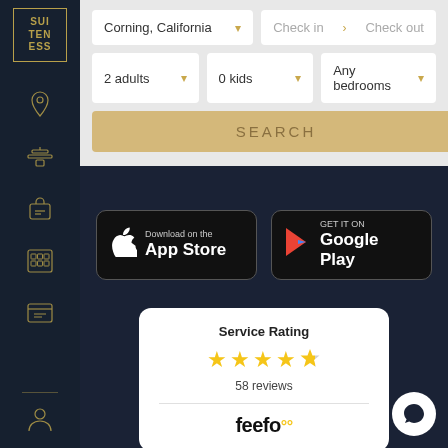[Figure (logo): Suiteness logo - stylized text SUI TEN ESS in gold border box]
[Figure (screenshot): Search UI with location Corning California, check in/out dates, 2 adults, 0 kids, Any bedrooms dropdowns and SEARCH button]
[Figure (infographic): Download on the App Store button (black with Apple logo)]
[Figure (infographic): Get it on Google Play button (black with Google Play triangle logo)]
[Figure (other): Feefo Service Rating card showing 4.5 stars out of 5 and 58 reviews]